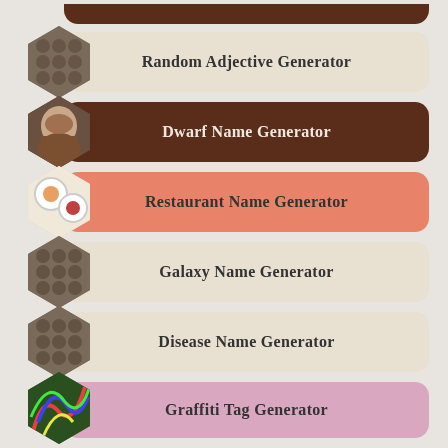Random Adjective Generator
Dwarf Name Generator
Restaurant Name Generator
Galaxy Name Generator
Disease Name Generator
Graffiti Tag Generator